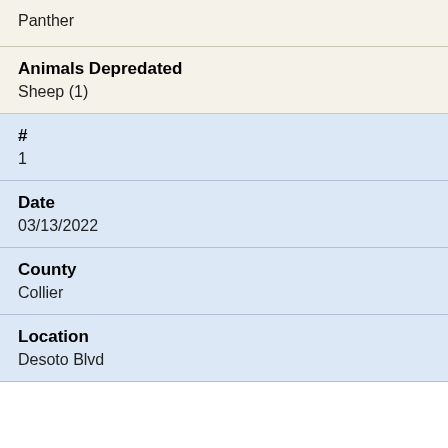| Field | Value |
| --- | --- |
|  | Panther |
| Animals Depredated | Sheep (1) |
| # | 1 |
| Date | 03/13/2022 |
| County | Collier |
| Location | Desoto Blvd |